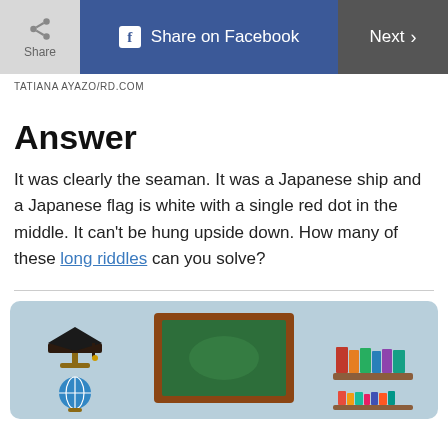Share | Share on Facebook | Next >
TATIANA AYAZO/RD.COM
Answer
It was clearly the seaman. It was a Japanese ship and a Japanese flag is white with a single red dot in the middle. It can't be hung upside down. How many of these long riddles can you solve?
[Figure (illustration): Classroom illustration with graduation cap, globe, chalkboard, and bookshelf on a light blue background]